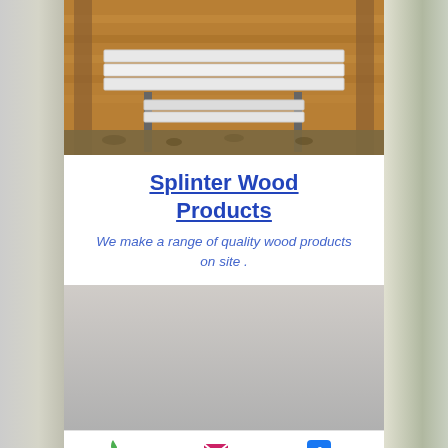[Figure (photo): Top photo showing a white painted wooden bench/table in a workshop setting with wooden shelving and frames in the background]
Splinter Wood Products
We make a range of quality wood products on site .
[Figure (photo): Bottom photo showing two people working, one person bending over a surface and another wearing a green jacket and white face mask]
Phone
Email
Facebook